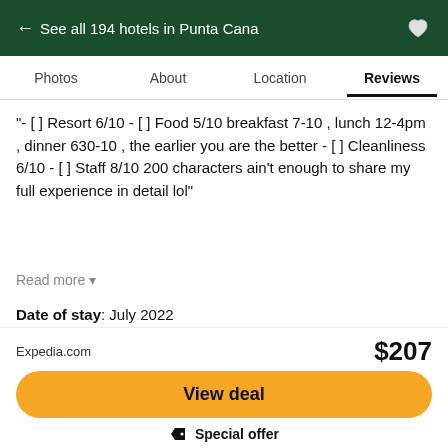← See all 194 hotels in Punta Cana
Photos  About  Location  Reviews
"- [ ] Resort 6/10 - [ ] Food 5/10 breakfast 7-10 , lunch 12-4pm , dinner 630-10 , the earlier you are the better - [ ] Cleanliness 6/10 - [ ] Staff 8/10 200 characters ain't enough to share my full experience in detail lol"
Read more
Date of stay: July 2022
This review is the subjective opinion of a Tripadvisor member and not of Tripadvisor LLC. Tripadvisor performs checks on reviews.
Helpful
Expedia.com  $207
View deal
Special offer